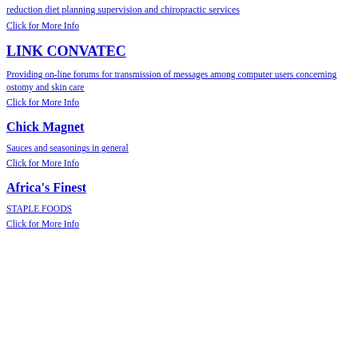reduction diet planning supervision and chiropractic services
Click for More Info
LINK CONVATEC
Providing on-line forums for transmission of messages among computer users concerning ostomy and skin care
Click for More Info
Chick Magnet
Sauces and seasonings in general
Click for More Info
Africa's Finest
STAPLE FOODS
Click for More Info